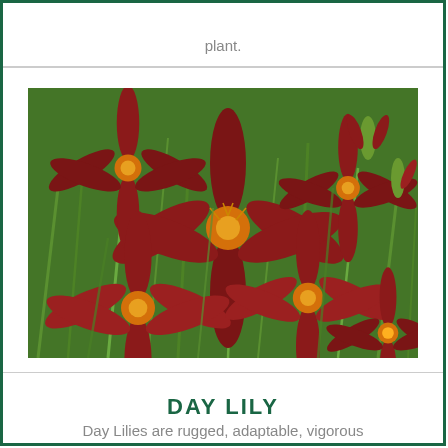plant.
[Figure (photo): Photograph of Day Lily flowers with deep red/maroon petals and yellow centers surrounded by green foliage]
DAY LILY
Day Lilies are rugged, adaptable, vigorous perennials that endure in a garden for many